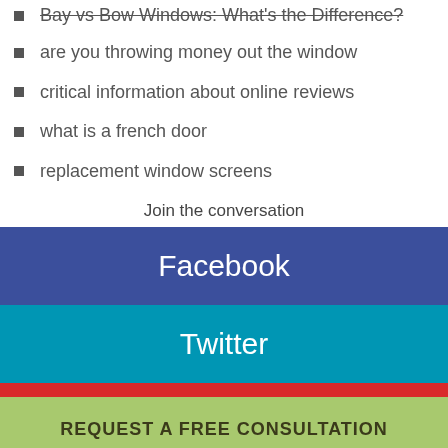Bay vs Bow Windows: What's the Difference?
are you throwing money out the window
critical information about online reviews
what is a french door
replacement window screens
Join the conversation
[Figure (other): Facebook social media button - dark blue rectangle]
[Figure (other): Twitter social media button - teal rectangle]
[Figure (other): Request a Free Consultation button - green/yellow-green rectangle]